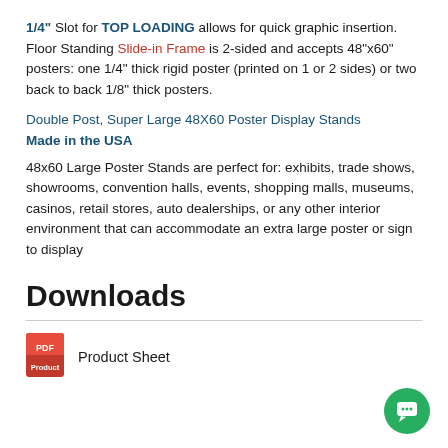1/4" Slot for TOP LOADING allows for quick graphic insertion.
Floor Standing Slide-in Frame is 2-sided and accepts 48"x60" posters: one 1/4" thick rigid poster (printed on 1 or 2 sides) or two back to back 1/8" thick posters.
Double Post, Super Large 48X60 Poster Display Stands
Made in the USA
48x60 Large Poster Stands are perfect for: exhibits, trade shows, showrooms, convention halls, events, shopping malls, museums, casinos, retail stores, auto dealerships, or any other interior environment that can accommodate an extra large poster or sign to display
Downloads
Product Sheet